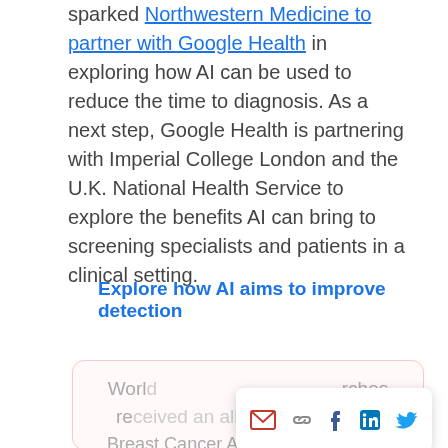sparked Northwestern Medicine to partner with Google Health in exploring how AI can be used to reduce the time to diagnosis. As a next step, Google Health is partnering with Imperial College London and the U.K. National Health Service to explore the benefits AI can bring to screening specialists and patients in a clinical setting.
Explore how AI aims to improve detection
World... rches received an all-time high during Breast Cancer Awareness Month in